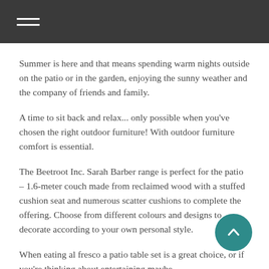Summer is here and that means spending warm nights outside on the patio or in the garden, enjoying the sunny weather and the company of friends and family.
A time to sit back and relax... only possible when you've chosen the right outdoor furniture! With outdoor furniture comfort is essential.
The Beetroot Inc. Sarah Barber range is perfect for the patio – 1.6-meter couch made from reclaimed wood with a stuffed cushion seat and numerous scatter cushions to complete the offering. Choose from different colours and designs to decorate according to your own personal style.
When eating al fresco a patio table set is a great choice, or if you're thinking about entertaining maybe